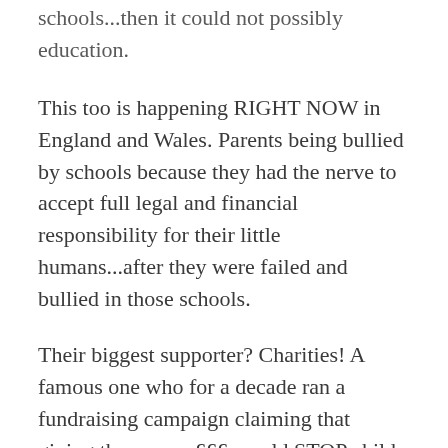schools...then it could not possibly education.
This too is happening RIGHT NOW in England and Wales. Parents being bullied by schools because they had the nerve to accept full legal and financial responsibility for their little humans...after they were failed and bullied in those schools.
Their biggest supporter? Charities! A famous one who for a decade ran a fundraising campaign claiming that giving them your £££ would STOP child abuse. It did not! But that organization top executives took home close to a £1,000,000 of your money each and every year.